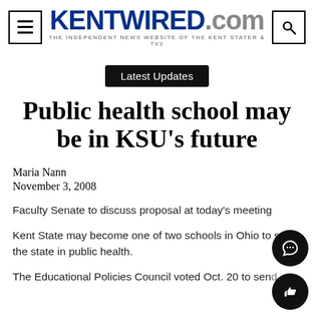KENTWIRED.com — THE INDEPENDENT NEWS WEBSITE OF THE KENT STATER & TV2
Latest Updates
Public health school may be in KSU's future
Maria Nann
November 3, 2008
Faculty Senate to discuss proposal at today's meeting
Kent State may become one of two schools in Ohio to serve the state in public health.
The Educational Policies Council voted Oct. 20 to send